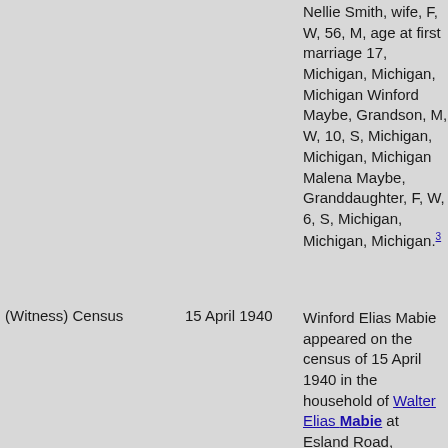Nellie Smith, wife, F, W, 56, M, age at first marriage 17, Michigan, Michigan, Michigan Winford Maybe, Grandson, M, W, 10, S, Michigan, Michigan, Michigan Malena Maybe, Granddaughter, F, W, 6, S, Michigan, Michigan, Michigan.[3]
(Witness) Census
15 April 1940
Winford Elias Mabie appeared on the census of 15 April 1940 in the household of Walter Elias Mabie at Esland Road, Hubbardston, Clinton County, Michigan, ; John Nemetz, owns home worth $400, Head, M, W, 36, M, completed 7 years school, born in